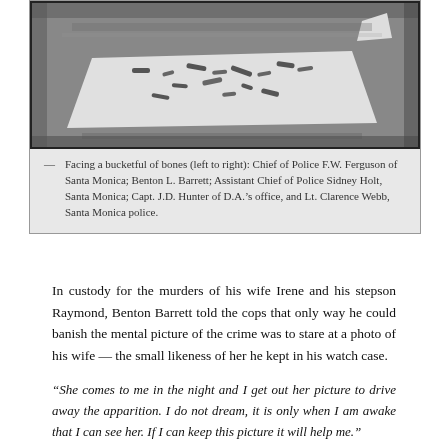[Figure (photo): Black and white photograph showing a bucketful of bones laid out on a white sheet, viewed from above. The image is grainy and high-contrast.]
— Facing a bucketful of bones (left to right): Chief of Police F.W. Ferguson of Santa Monica; Benton L. Barrett; Assistant Chief of Police Sidney Holt, Santa Monica; Capt. J.D. Hunter of D.A.'s office, and Lt. Clarence Webb, Santa Monica police.
In custody for the murders of his wife Irene and his stepson Raymond, Benton Barrett told the cops that only way he could banish the mental picture of the crime was to stare at a photo of his wife — the small likeness of her he kept in his watch case.
“She comes to me in the night and I get out her picture to drive away the apparition. I do not dream, it is only when I am awake that I can see her. If I can keep this picture it will help me.”